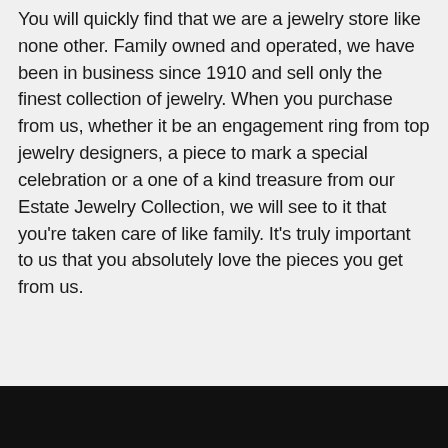You will quickly find that we are a jewelry store like none other. Family owned and operated, we have been in business since 1910 and sell only the finest collection of jewelry. When you purchase from us, whether it be an engagement ring from top jewelry designers, a piece to mark a special celebration or a one of a kind treasure from our Estate Jewelry Collection, we will see to it that you're taken care of like family. It's truly important to us that you absolutely love the pieces you get from us.